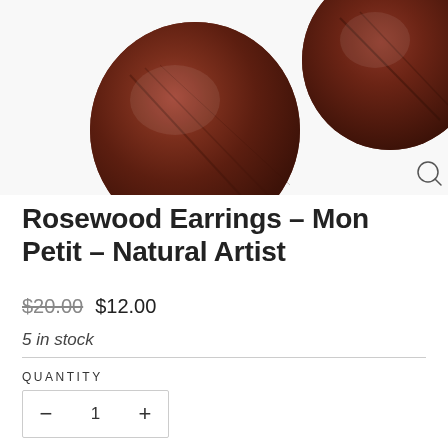[Figure (photo): Two round polished rosewood earrings shown on white background, dark reddish-brown wood with natural grain texture]
Rosewood Earrings - Mon Petit - Natural Artist
$20.00  $12.00
5 in stock
QUANTITY
- 1 +